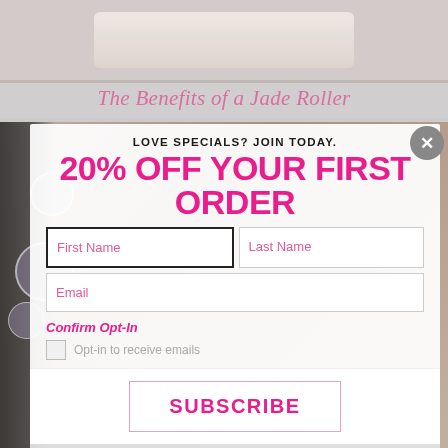[Figure (photo): Partial product image (jade roller) at top, cropped]
The Benefits of a Jade Roller
[Figure (screenshot): Email signup popup modal overlay on background photo of woman with bubbles. Modal contains: 'LOVE SPECIALS? JOIN TODAY.' headline, '20% OFF YOUR FIRST ORDER' in pink, First Name and Last Name input fields, Email input field, Confirm Opt-In section with checkbox and 'Opt-in to receive emails' text, SUBSCRIBE button, and footer text 'Receive exclusive sales, hair & beauty tips, giveaways and more!']
LOVE SPECIALS? JOIN TODAY.
20% OFF YOUR FIRST ORDER
First Name
Last Name
Email
Confirm Opt-In
Opt-in to receive emails
SUBSCRIBE
Receive exclusive sales, hair & beauty tips, giveaways and more!